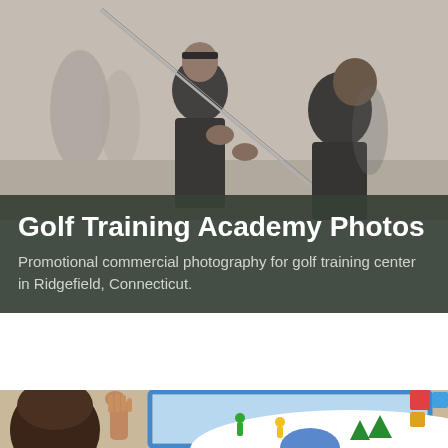[Figure (photo): Black and white photo of a golf instructor teaching a young student how to hold a golf club, outdoors setting with other people in the background.]
Golf Training Academy Photos
Promotional commercial photography for golf training center in Ridgefield, Connecticut.
[Figure (photo): Color photo of a young child with raised hand in front of a colorful classroom bulletin board depicting a winter snowy scene with skiers and Christmas trees.]